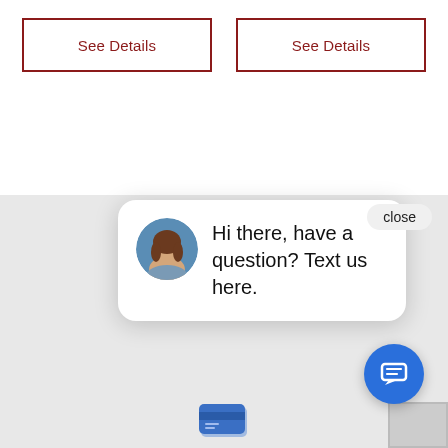See Details
See Details
[Figure (screenshot): Bottom section of a webpage with a credit card icon, partial bold letter F, a heart/loyalty icon, and Money Saving Rebates heading, overlaid by a chat popup bubble saying 'Hi there, have a question? Text us here.' with a female avatar, a close button, and a blue chat FAB button.]
Hi there, have a question? Text us here.
Money Saving Rebates